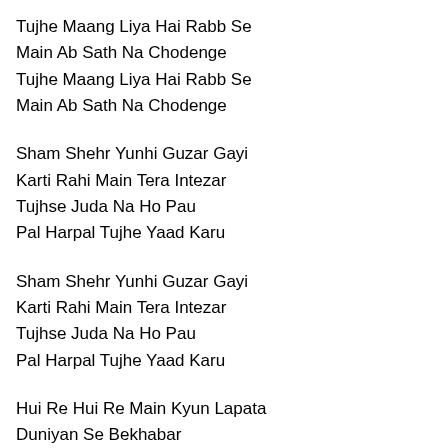Tujhe Maang Liya Hai Rabb Se
Main Ab Sath Na Chodenge
Tujhe Maang Liya Hai Rabb Se
Main Ab Sath Na Chodenge
Sham Shehr Yunhi Guzar Gayi
Karti Rahi Main Tera Intezar
Tujhse Juda Na Ho Pau
Pal Harpal Tujhe Yaad Karu
Sham Shehr Yunhi Guzar Gayi
Karti Rahi Main Tera Intezar
Tujhse Juda Na Ho Pau
Pal Harpal Tujhe Yaad Karu
Hui Re Hui Re Main Kyun Lapata
Duniyan Se Bekhabar